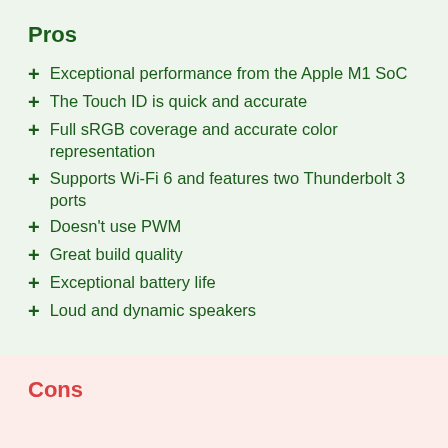Pros
Exceptional performance from the Apple M1 SoC
The Touch ID is quick and accurate
Full sRGB coverage and accurate color representation
Supports Wi-Fi 6 and features two Thunderbolt 3 ports
Doesn't use PWM
Great build quality
Exceptional battery life
Loud and dynamic speakers
Cons